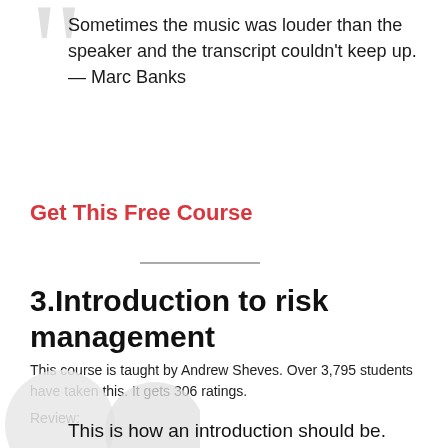Sometimes the music was louder than the speaker and the transcript couldn't keep up. — Marc Banks
Get This Free Course
3.Introduction to risk management
This course is taught by Andrew Sheves. Over 3,795 students have taken this. It gets 306 ratings.
Review:
This is how an introduction should be.